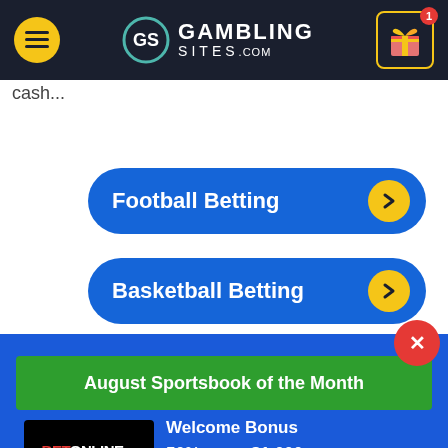GambingSites.com navigation bar with hamburger menu, logo, and gift icon
cash...
Football Betting
Basketball Betting
August Sportsbook of the Month
[Figure (logo): BetOnline.ag logo - black background with red BET and white ONLINE.ag text]
Welcome Bonus
50% up to $1,000
VISIT SITE ▶